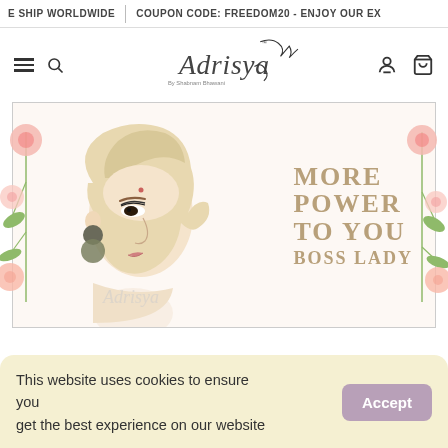E SHIP WORLDWIDE | COUPON CODE: FREEDOM20 - ENJOY OUR EX
[Figure (logo): Adrisya by Shabnam Bhawani brand logo with decorative script and eyelash motif]
[Figure (illustration): Hero banner with fashion illustration of woman wearing earrings with text MORE POWER TO YOU BOSS LADY in gold, with floral decorations on sides]
This website uses cookies to ensure you get the best experience on our website